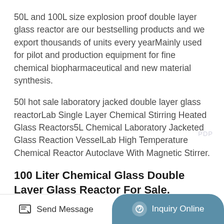50L and 100L size explosion proof double layer glass reactor are our bestselling products and we export thousands of units every yearMainly used for pilot and production equipment for fine chemical biopharmaceutical and new material synthesis.
50l hot sale laboratory jacked double layer glass reactorLab Single Layer Chemical Stirring Heated Glass Reactors5L Chemical Laboratory Jacketed Glass Reaction VesselLab High Temperature Chemical Reactor Autoclave With Magnetic Stirrer.
100 Liter Chemical Glass Double Layer Glass Reactor For Sale.
5L Laborator DoubleLayer Glass Jacket Reactor
Send Message | Inquiry Online